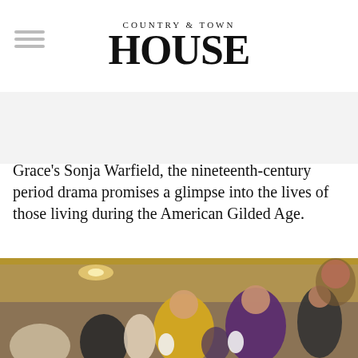COUNTRY & TOWN HOUSE
Grace's Sonja Warfield, the nineteenth-century period drama promises a glimpse into the lives of those living during the American Gilded Age.
[Figure (photo): Scene from a Gilded Age period drama showing elegantly dressed men and women in a grand ornate ballroom. Women in ball gowns — one yellow, one purple — stand prominently in the foreground.]